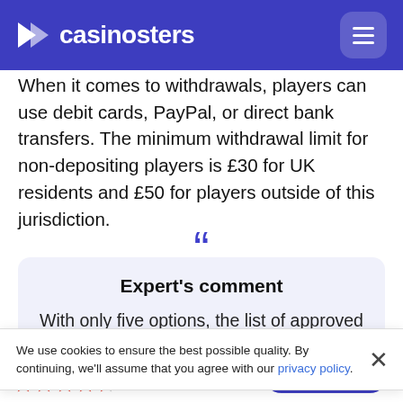casinosters
When it comes to withdrawals, players can use debit cards, PayPal, or direct bank transfers. The minimum withdrawal limit for non-depositing players is £30 for UK residents and £50 for players outside of this jurisdiction.
Expert's comment
With only five options, the list of approved payment methods in PocketWin Casino is not
We use cookies to ensure the best possible quality. By continuing, we'll assume that you agree with our privacy policy.
PocketWin Casino Review  ★★★★½ 9.1  Play Here